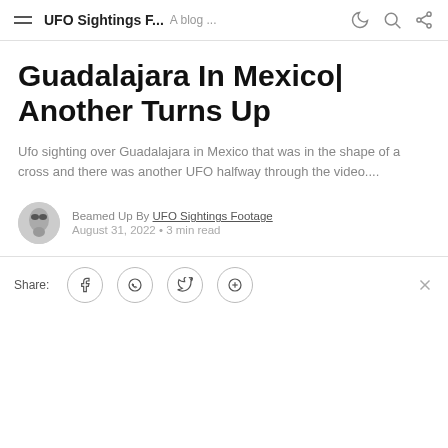UFO Sightings F... A blog ...
Guadalajara In Mexico| Another Turns Up
Ufo sighting over Guadalajara in Mexico that was in the shape of a cross and there was another UFO halfway through the video....
Beamed Up By UFO Sightings Footage
August 31, 2022 • 3 min read
Share: